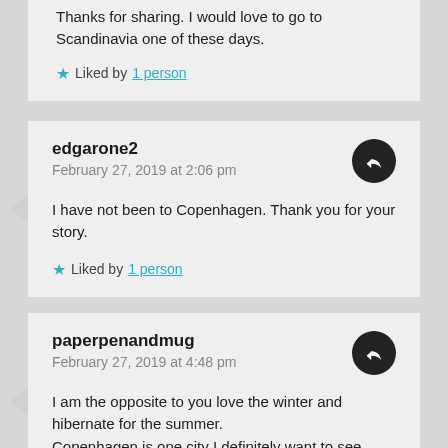Thanks for sharing. I would love to go to Scandinavia one of these days.
Liked by 1 person
edgarone2
February 27, 2019 at 2:06 pm
I have not been to Copenhagen. Thank you for your story.
Liked by 1 person
paperpenandmug
February 27, 2019 at 4:48 pm
I am the opposite to you love the winter and hibernate for the summer.
Copenhagen is one city I definitely want to see.